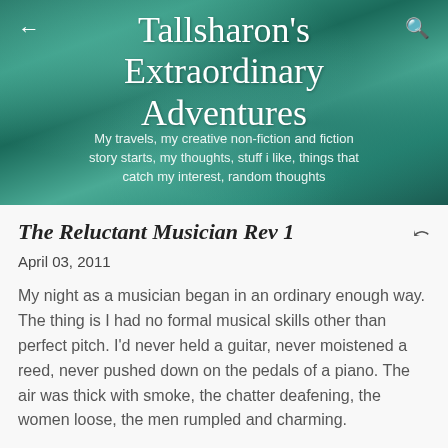[Figure (photo): Aerial photo of turquoise ocean/water used as blog header background]
Tallsharon's Extraordinary Adventures
My travels, my creative non-fiction and fiction story starts, my thoughts, stuff i like, things that catch my interest, random thoughts
The Reluctant Musician Rev 1
April 03, 2011
My night as a musician began in an ordinary enough way. The thing is I had no formal musical skills other than perfect pitch. I'd never held a guitar, never moistened a reed, never pushed down on the pedals of a piano. The air was thick with smoke, the chatter deafening, the women loose, the men rumpled and charming.